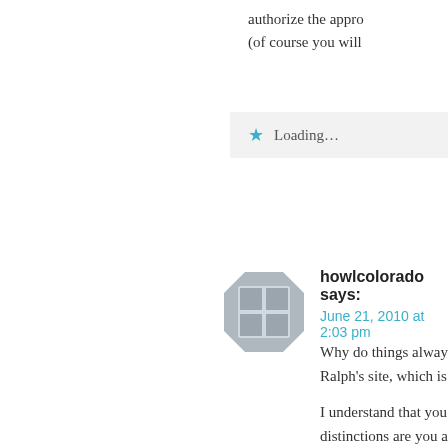authorize the appro (of course you will
Loading...
[Figure (illustration): Generic avatar icon - grey octagon with 4-square grid pattern]
howlcolorado says:
June 21, 2010 at 2:03 pm
Why do things alway Ralph's site, which is
I understand that you distinctions are you a yourselves in.
If you hate wolves, th
If you hate hunters, th
See, you have someth
Relax, take a deep br
Jon is right, wolves a